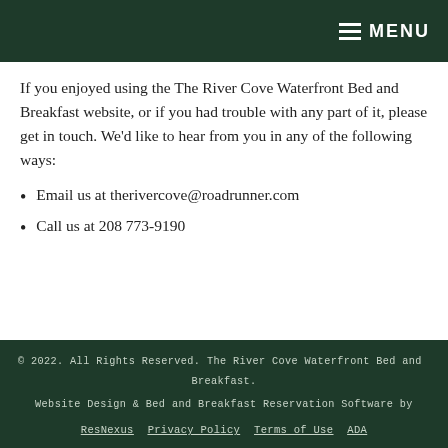MENU
If you enjoyed using the The River Cove Waterfront Bed and Breakfast website, or if you had trouble with any part of it, please get in touch. We'd like to hear from you in any of the following ways:
Email us at therivercove@roadrunner.com
Call us at 208 773-9190
© 2022. All Rights Reserved. The River Cove Waterfront Bed and Breakfast.

Website Design & Bed and Breakfast Reservation Software by

ResNexus  Privacy Policy  Terms of Use  ADA